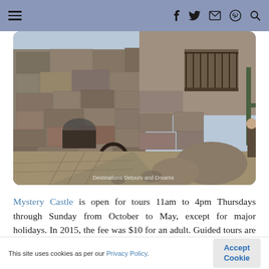≡  f  🐦  ✉  ⊕  🔍
[Figure (photo): Photograph of Mystery Castle exterior — large rough stone walls with archways, boulders in foreground, a wooden balcony, cactus and desert landscape visible in background. Watermark text 'Destinations Detours and Dreams' in lower right.]
Mystery Castle is open for tours 11am to 4pm Thursdays through Sunday from October to May, except for major holidays. In 2015, the fee was $10 for an adult. Guided tours are continuous and circular.
This site uses cookies as per our Privacy Policy.  [Accept Cookie]